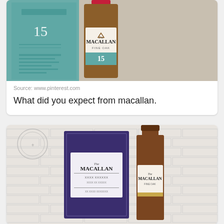[Figure (photo): Photo of The Macallan Fine Oak 15 Year whisky bottle next to its teal/turquoise box packaging, on a light beige surface]
Source: www.pinterest.com
What did you expect from macallan.
[Figure (photo): Photo of The Macallan whisky bottle in a dark blue/purple box packaging against a white brick wall background, with a circular logo watermark in the top left]